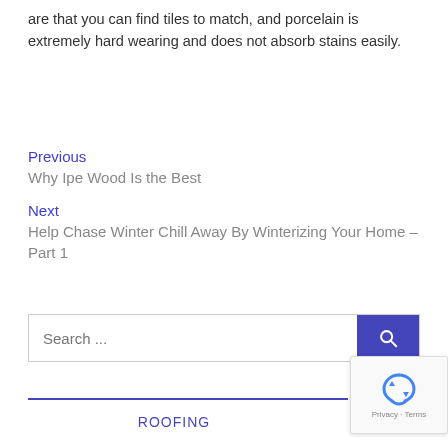are that you can find tiles to match, and porcelain is extremely hard wearing and does not absorb stains easily.
Previous
Why Ipe Wood Is the Best
Next
Help Chase Winter Chill Away By Winterizing Your Home – Part 1
[Figure (other): Search bar with blue search button and magnifying glass icon]
ROOFING